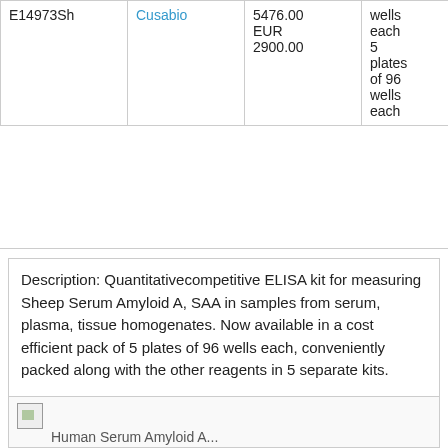| Catalog | Supplier | Price | Quantity |
| --- | --- | --- | --- |
| E14973Sh | Cusabio | 5476.00 EUR 2900.00 | wells each 5 plates of 96 wells each |
Description: Quantitativecompetitive ELISA kit for measuring Sheep Serum Amyloid A, SAA in samples from serum, plasma, tissue homogenates. Now available in a cost efficient pack of 5 plates of 96 wells each, conveniently packed along with the other reagents in 5 separate kits.
[Figure (photo): Small image placeholder with partial text label below]